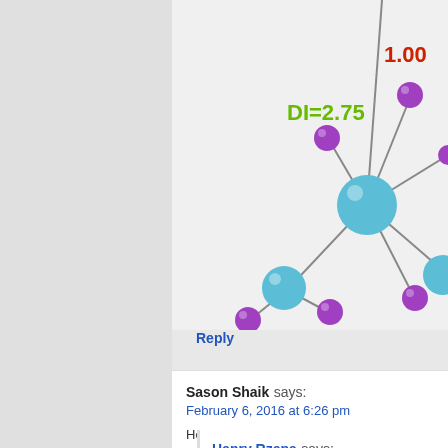[Figure (illustration): 3D molecular structure showing a central Krypton (Kr) atom in teal/cyan bonded to multiple purple atoms. Labels show DI=2.75 in green, bond index 1.00 in red, and 3.4 in red. A secondary teal atom appears lower-left with additional purple ligands.]
Reply
Sason Shaik says:
February 6, 2016 at 6:26 pm
Henry, Is there a take home summary about DI, Laplacian, E to summarize. .. Sason
Reply
Henry Rzepa says: